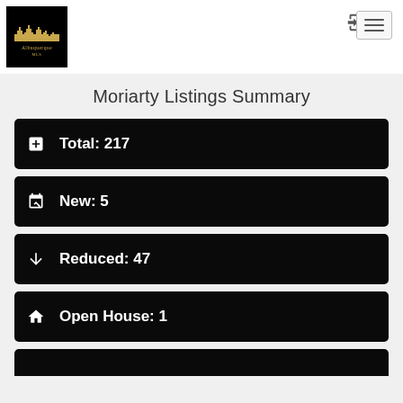[Figure (logo): Albuquerque MLS logo - black background with gold city skyline silhouette and text]
Moriarty Listings Summary
Total: 217
New: 5
Reduced: 47
Open House: 1